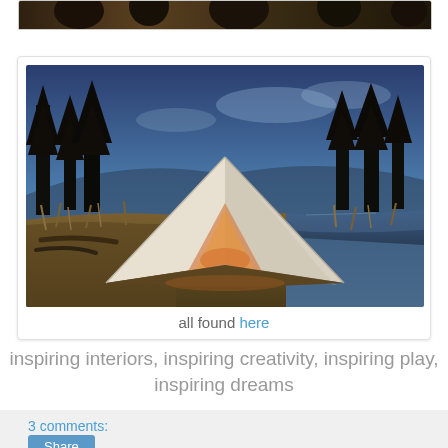[Figure (photo): Partial top strip of an outdoor nature photo showing dark trees and ground, cropped at top of page]
[Figure (photo): A white bell tent glowing from inside, pitched near a river or lake at dusk, surrounded by tall pine trees and golden grass]
all found here
inspiring interiors, inspiring creativity, inspiring play, inspiring dreams
3 comments:
Share